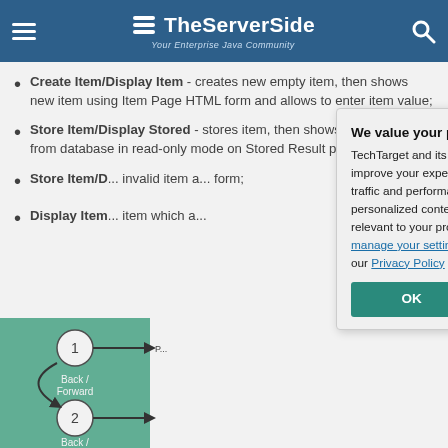TheServerSide — Your Enterprise Java Community
Create Item/Display Item - creates new empty item, then shows new item using Item Page HTML form and allows to enter item value;
Store Item/Display Stored - stores item, then shows persisted item from database in read-only mode on Stored Result page.
Store Item/D... invalid item a... form;
Display Item... item which a...
[Figure (flowchart): Diagram showing numbered nodes (1, 2) labeled Back/Forward with arrows]
We value your privacy. TechTarget and its partners employ cookies to improve your experience on our site, to analyze traffic and performance, and to serve personalized content and advertising that are relevant to your professional interests. You can manage your settings at any time. Please view our Privacy Policy for more information